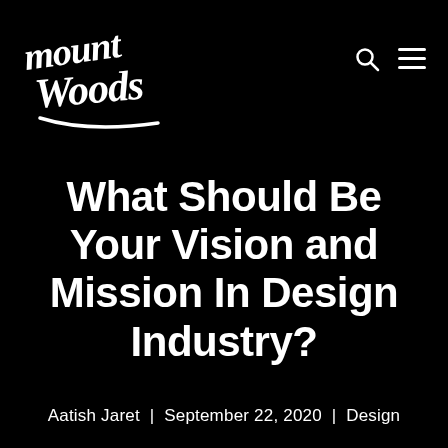[Figure (logo): Mount Woods studio handwritten script logo in white on black background]
What Should Be Your Vision and Mission In Design Industry?
Aatish Jaret | September 22, 2020 | Design